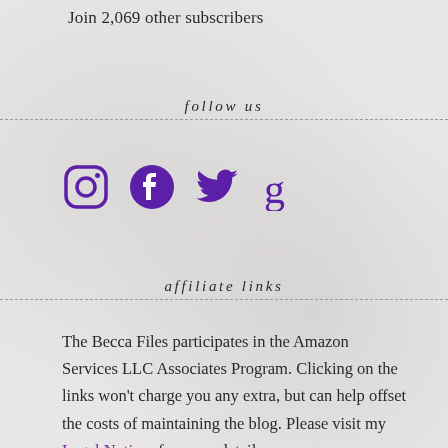Join 2,069 other subscribers
follow us
[Figure (illustration): Four social media icons in purple: Instagram, Facebook, Twitter, and Goodreads]
affiliate links
The Becca Files participates in the Amazon Services LLC Associates Program. Clicking on the links won't charge you any extra, but can help offset the costs of maintaining the blog. Please visit my Legal Notices for more details.